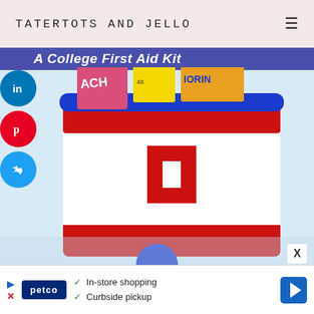TATERTOTS AND JELLO
[Figure (photo): A red and white first aid kit container with a blue rim, holding medicine boxes including what appears to be Peach antacid and Motrin, with a large red cross on the front. Title overlay: 'A College First Aid Kit']
[Figure (infographic): Petco advertisement banner with checkmarks for 'In-store shopping' and 'Curbside pickup']